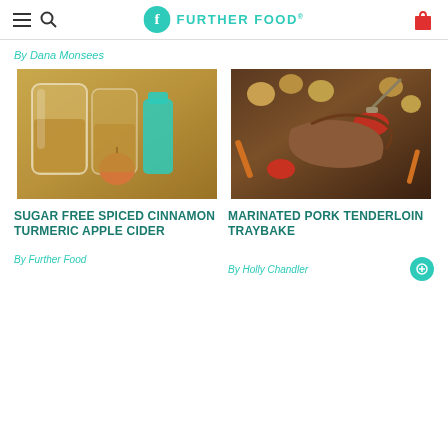FURTHER FOOD®
By Dana Monsees
[Figure (photo): Two mason jars filled with golden apple cider, a teal supplement bottle, and an apple with cinnamon sticks]
[Figure (photo): Marinated pork tenderloin traybake with roasted potatoes, carrots, and peppers in a baking tray]
SUGAR FREE SPICED CINNAMON TURMERIC APPLE CIDER
MARINATED PORK TENDERLOIN TRAYBAKE
By Further Food
By Holly Chandler